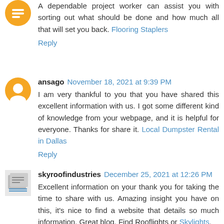A dependable project worker can assist you with sorting out what should be done and how much all that will set you back. Flooring Staplers
Reply
ansago November 18, 2021 at 9:39 PM
I am very thankful to you that you have shared this excellent information with us. I got some different kind of knowledge from your webpage, and it is helpful for everyone. Thanks for share it. Local Dumpster Rental in Dallas
Reply
skyroofindustries December 25, 2021 at 12:26 PM
Excellent information on your thank you for taking the time to share with us. Amazing insight you have on this, it's nice to find a website that details so much information. Great blog. Find Rooflights or Skylights.